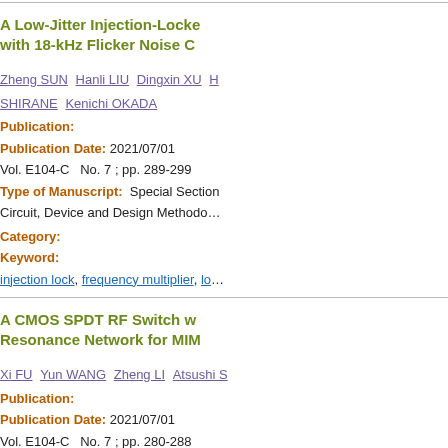A Low-Jitter Injection-Locked with 18-kHz Flicker Noise C
Zheng SUN Hanli LIU Dingxin XU H SHIRANE Kenichi OKADA
Publication:
Publication Date: 2021/07/01
Vol. E104-C  No. 7 ; pp. 289-299
Type of Manuscript:  Special Section Circuit, Device and Design Methodo
Category:
Keyword:
injection lock, frequency multiplier, lo
A CMOS SPDT RF Switch w Resonance Network for MIM
Xi FU Yun WANG Zheng LI Atsushi S
Publication:
Publication Date: 2021/07/01
Vol. E104-C  No. 7 ; pp. 280-288
Type of Manuscript:  Special Section Circuit, Device and Design Methodo